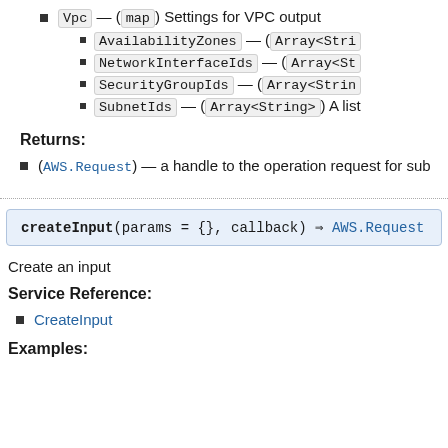Vpc — (map) Settings for VPC output
AvailabilityZones — (Array<Stri...
NetworkInterfaceIds — (Array<St...
SecurityGroupIds — (Array<Strin...
SubnetIds — (Array<String>) A list...
Returns:
(AWS.Request) — a handle to the operation request for sub...
createInput(params = {}, callback) ⇒ AWS.Request
Create an input
Service Reference:
CreateInput
Examples: